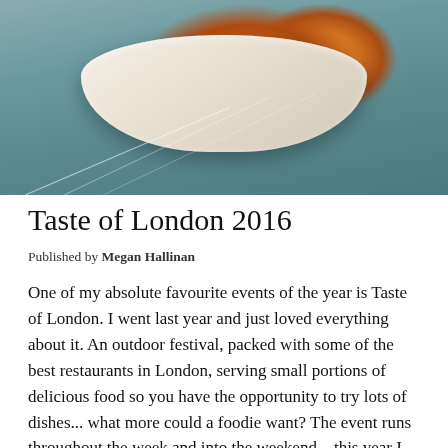[Figure (photo): A photograph of fried food items (breaded/crumbed balls) on a white oval dish with a dipping sauce, on a glass table with a blueish-grey background.]
Taste of London 2016
Published by Megan Hallinan
One of my absolute favourite events of the year is Taste of London. I went last year and just loved everything about it. An outdoor festival, packed with some of the best restaurants in London, serving small portions of delicious food so you have the opportunity to try lots of dishes... what more could a foodie want? The event runs throughout the week and into the weekend – this year I was tempted to go earlier in the week, but decided to go on Saturday to make the most of it with plenty of tipples